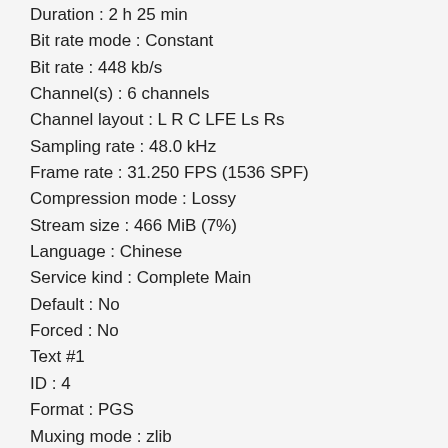Duration : 2 h 25 min
Bit rate mode : Constant
Bit rate : 448 kb/s
Channel(s) : 6 channels
Channel layout : L R C LFE Ls Rs
Sampling rate : 48.0 kHz
Frame rate : 31.250 FPS (1536 SPF)
Compression mode : Lossy
Stream size : 466 MiB (7%)
Language : Chinese
Service kind : Complete Main
Default : No
Forced : No
Text #1
ID : 4
Format : PGS
Muxing mode : zlib
Codec ID : S_HDMV/PGS